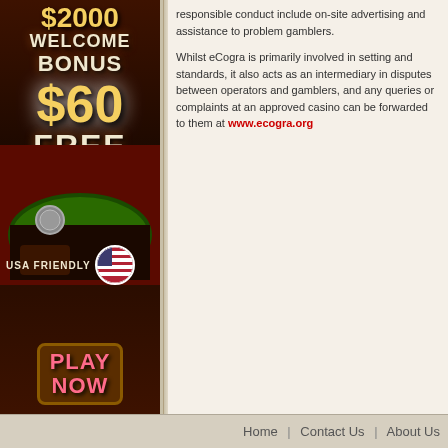[Figure (illustration): Casino advertisement banner: $2000 Welcome Bonus, $60 Free Chip!, USA Friendly with American flag, Play Now button. Dark brown/red casino themed background.]
responsible conduct include on-site advertising and assistance to problem gamblers.
Whilst eCogra is primarily involved in setting and standards, it also acts as an intermediary in disputes between operators and gamblers, and any queries or complaints at an approved casino can be forwarded to them at www.ecogra.org
Home  |  Contact Us  |  About Us